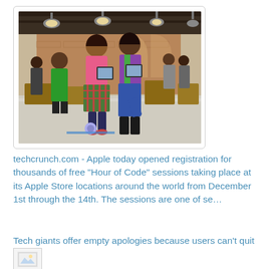[Figure (photo): Two young girls holding tablets in an Apple Store-like space with brick walls and pendant lights. Several adults visible in the background. The girls appear to be participating in a coding or tech activity.]
techcrunch.com - Apple today opened registration for thousands of free "Hour of Code" sessions taking place at its Apple Store locations around the world from December 1st through the 14th. The sessions are one of se...
Tech giants offer empty apologies because users can't quit
[Figure (photo): Small thumbnail image placeholder icon]